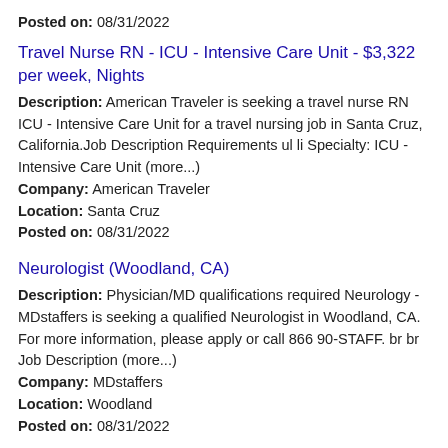Posted on: 08/31/2022
Travel Nurse RN - ICU - Intensive Care Unit - $3,322 per week, Nights
Description: American Traveler is seeking a travel nurse RN ICU - Intensive Care Unit for a travel nursing job in Santa Cruz, California.Job Description Requirements ul li Specialty: ICU - Intensive Care Unit (more...)
Company: American Traveler
Location: Santa Cruz
Posted on: 08/31/2022
Neurologist (Woodland, CA)
Description: Physician/MD qualifications required Neurology - MDstaffers is seeking a qualified Neurologist in Woodland, CA. For more information, please apply or call 866 90-STAFF. br br Job Description (more...)
Company: MDstaffers
Location: Woodland
Posted on: 08/31/2022
OTR Class A Reefer Driver - Weekly Pay
Description: br br br OTR Class A Reefer Driver - Weekly Pay br Call 866-000-1751 or Apply Online Below br br Job Type: Full-time br br